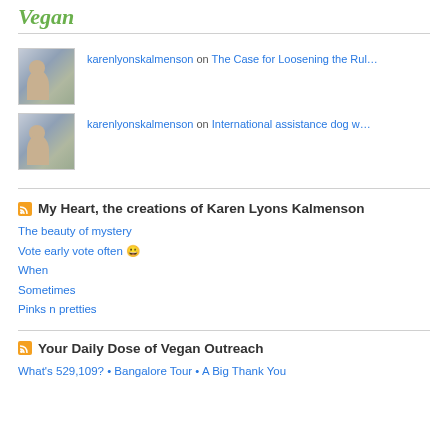[Figure (logo): Vegan blog/site logo with italic green text]
karenlyonskalmenson on The Case for Loosening the Rul…
karenlyonskalmenson on International assistance dog w…
My Heart, the creations of Karen Lyons Kalmenson
The beauty of mystery
Vote early vote often 😀
When
Sometimes
Pinks n pretties
Your Daily Dose of Vegan Outreach
What's 529,109? • Bangalore Tour • A Big Thank You